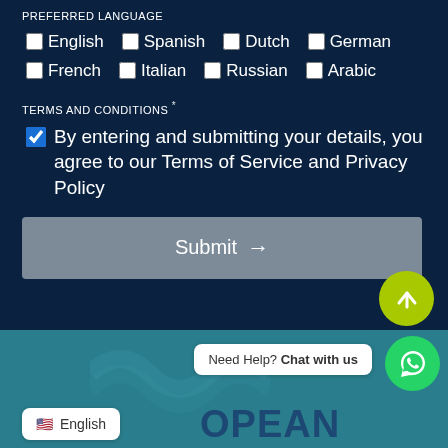PREFERRED LANGUAGE
English  Spanish  Dutch  German
French  Italian  Russian  Arabic
TERMS AND CONDITIONS *
By entering and submitting your details, you agree to our Terms of Service and Privacy Policy
Submit →
[Figure (screenshot): Bottom footer section with language selector showing English with US flag, partial text OPEAN, Need Help? Chat with us bubble, WhatsApp button, and scroll-to-top button]